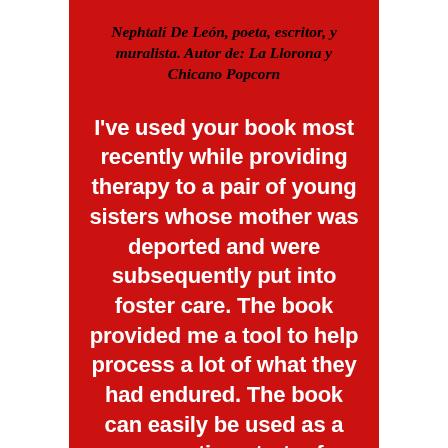Nephalí De León, poeta, escritor, y muralista. Autor de: La Llorona y Chicano Popcorn
I've used your book most recently while providing therapy to a pair of young sisters whose mother was deported and were subsequently put into foster care. The book provided me a tool to help process a lot of what they had endured. The book can easily be used as a conversation starter for different topics in the therapeutic setting